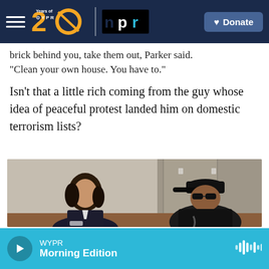WYPR 20 Years of WYPR | npr | Donate
brick behind you, take them out, Parker said. "Clean your own house. You have to."
Isn't that a little rich coming from the guy whose idea of peaceful protest landed him on domestic terrorism lists?
[Figure (photo): A woman in a dark blazer sits across from a man in a black cap and jacket during an interview in an office setting.]
WYPR Morning Edition (audio player bar)